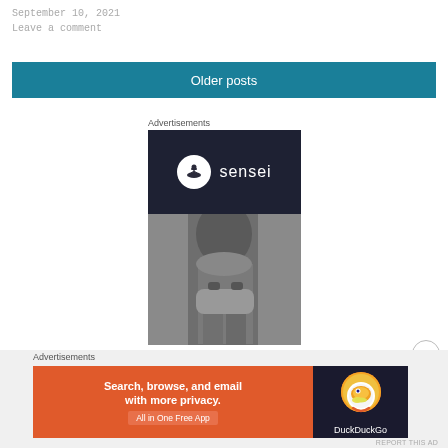September 10, 2021
Leave a comment
Older posts
Advertisements
[Figure (logo): Sensei advertisement with dark navy top section showing Sensei logo (tree bonsai in white circle) and text 'sensei', lower half shows grayscale photo of hands/wrist]
Advertisements
[Figure (screenshot): DuckDuckGo ad banner: orange background left side with text 'Search, browse, and email with more privacy. All in One Free App', dark right panel with DuckDuckGo duck logo]